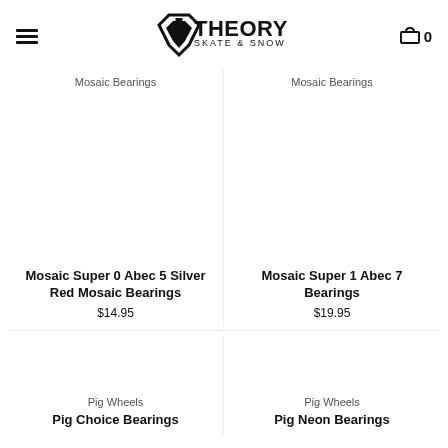Theory Skate & Snow — hamburger menu, logo, cart (0)
Mosaic Bearings
Mosaic Super 0 Abec 5 Silver Red Mosaic Bearings
$14.95
Mosaic Bearings
Mosaic Super 1 Abec 7 Bearings
$19.95
Pig Wheels
Pig Choice Bearings
Pig Wheels
Pig Neon Bearings